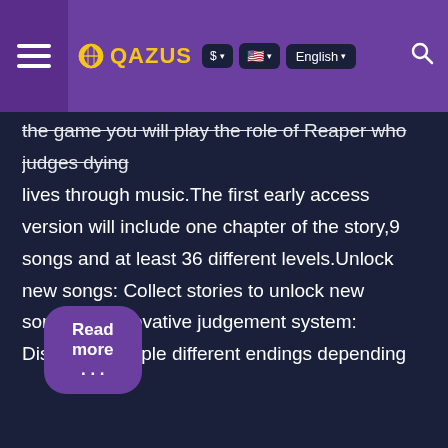QAZUS — $ · English navigation bar
the game you will play the role of Reaper who judges dying lives through music.The first early access version will include one chapter of the story,9 songs and at least 36 different levels.Unlock new songs: Collect stories to unlock new songs.An innovative judgement system: Discover multiple different endings depending on your choices in-game!Read the story: Clear the stage to get more stories and read the full story in the story system.Different challenges : More than 10 difficulty levels for more fun and challenges.Get the
Read more . . .